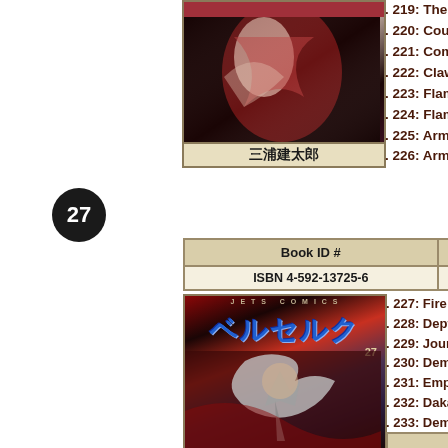[Figure (illustration): Berserk manga volume 26 cover art showing dark battle scene with character]
三浦建太郎
. 219: The Border o
. 220: Courtesan of
. 221: Companions
. 222: Claw Marks
. 223: Flame (1)
. 224: Flame (2)
. 225: Armor of the
. 226: Armor of the
[Figure (illustration): Volume 27 badge/number indicator - black circle with 27]
| Book ID # | Published |
| --- | --- |
| ISBN 4-592-13725-6 | 07/29/04 |
[Figure (illustration): Berserk manga volume 27 cover - Jets Comics label, blue katakana title, warrior character with sword]
. 227: Fire Dragon
. 228: Depth of Hell
. 229: Journey of Fl
. 230: Demon City
. 231: Emperor of To
. 232: Daka (Demon
. 233: Demon Knigh
. 234: Demon God
. 235: The Sleeping
Chapte